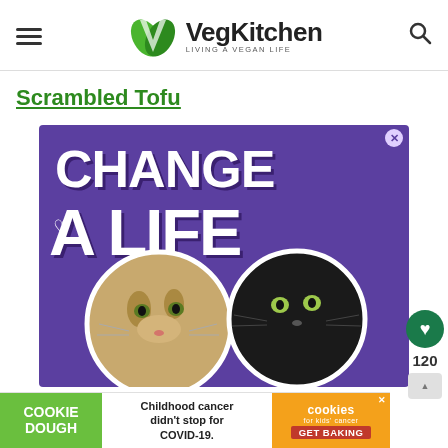VegKitchen — LIVING A VEGAN LIFE
Scrambled Tofu
[Figure (illustration): Advertisement banner with purple background showing text 'CHANGE A LIFE' with heart icon and two cat faces (tabby and black cat) in circular cutouts]
[Figure (advertisement): Cookie Dough / Cookies for Kids' Cancer ad: 'Childhood cancer didn't stop for COVID-19. GET BAKING']